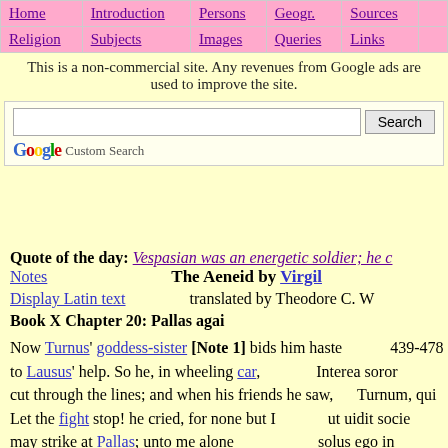Home | Introduction | Persons | Geogr. | Sources | Religion | Subjects | Images | Queries | Links
This is a non-commercial site. Any revenues from Google ads are used to improve the site.
[Figure (other): Google Custom Search bar with text input and Search button]
Quote of the day: Vespasian was an energetic soldier; he c
Notes    The Aeneid by Virgil
Display Latin text    translated by Theodore C. W
Book X Chapter 20: Pallas agai
Now Turnus' goddess-sister [Note 1] bids him haste to Lausus' help. So he, in wheeling car, cut through the lines; and when his friends he saw, Let the fight stop! he cried, for none but I may strike at Pallas; unto me alone the prize of Pallas falls. I would his sire stood by to see. He spake: his troop withdrew
439-478
Interea soror
Turnum, qui
ut uidit socie
solus ego in
debetur; cup
haec ait, et s